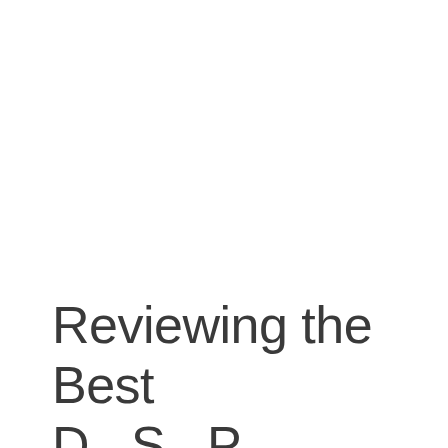Reviewing the Best D... S... P...